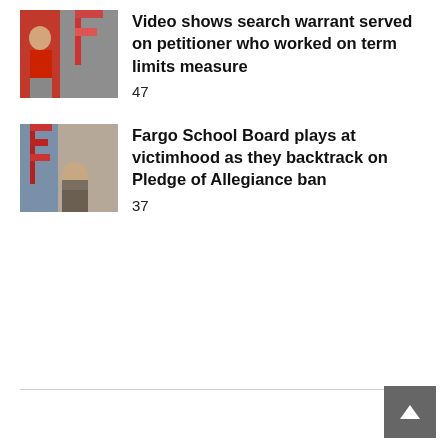[Figure (photo): Thumbnail photo of a person in a red shirt at an outdoor event with American flags]
Video shows search warrant served on petitioner who worked on term limits measure
47
[Figure (photo): Thumbnail photo of a child near American flags at an indoor event]
Fargo School Board plays at victimhood as they backtrack on Pledge of Allegiance ban
37